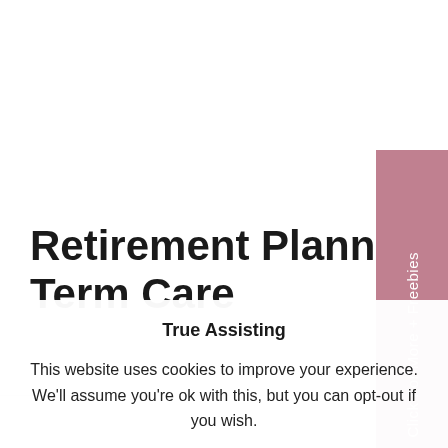Retirement Planning and Long Term Care
[Figure (other): Sidebar tab button with text 'Click For More + Freebies' rotated vertically on right edge, pink/mauve background]
True Assisting
This website uses cookies to improve your experience. We'll assume you're ok with this, but you can opt-out if you wish.
Accept  Read More